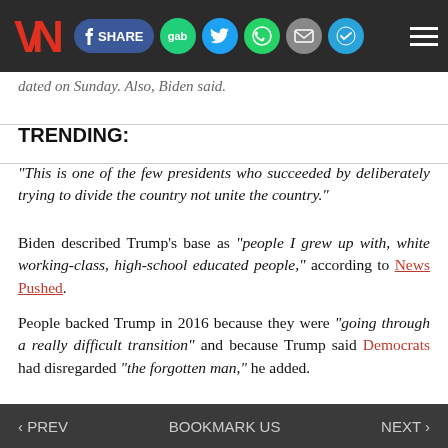VN — SHARE gab [social icons]
dated on Sunday. Also, Biden said.
TRENDING:
“This is one of the few presidents who succeeded by deliberately trying to divide the country not unite the country.”
Biden described Trump’s base as “people I grew up with, white working-class, high-school educated people,” according to News Pushed.
People backed Trump in 2016 because they were “going through a really difficult transition” and because Trump said Democrats had disregarded “the forgotten man,” he added.
‹ PREV    BOOKMARK US    NEXT ›